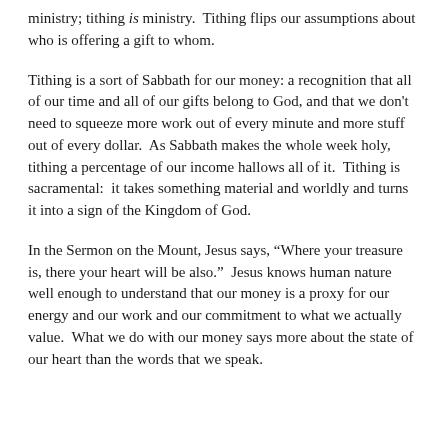ministry; tithing is ministry.  Tithing flips our assumptions about who is offering a gift to whom.
Tithing is a sort of Sabbath for our money: a recognition that all of our time and all of our gifts belong to God, and that we don't need to squeeze more work out of every minute and more stuff out of every dollar.  As Sabbath makes the whole week holy, tithing a percentage of our income hallows all of it.  Tithing is sacramental:  it takes something material and worldly and turns it into a sign of the Kingdom of God.
In the Sermon on the Mount, Jesus says, “Where your treasure is, there your heart will be also.”  Jesus knows human nature well enough to understand that our money is a proxy for our energy and our work and our commitment to what we actually value.  What we do with our money says more about the state of our heart than the words that we speak.